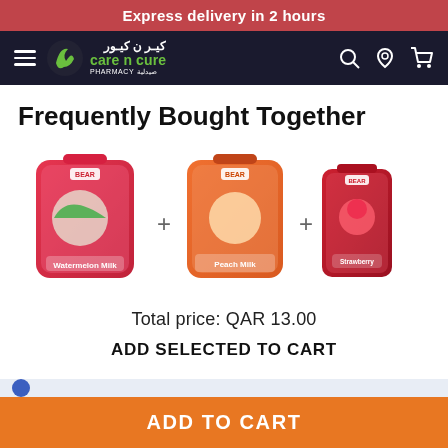Express delivery in 2 hours
[Figure (logo): Care n Cure Pharmacy logo with green leaf icon and bilingual text (Arabic and English)]
Frequently Bought Together
[Figure (photo): Three product images side by side: watermelon milk pouch, peach milk pouch, and a smaller red fruit-flavored milk pouch, separated by plus signs]
Total price: QAR 13.00
ADD SELECTED TO CART
ADD TO CART